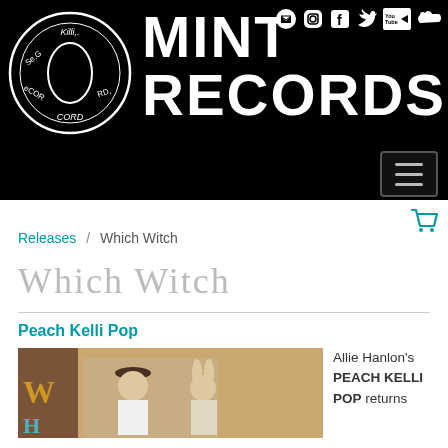[Figure (logo): Mint Records logo with circular hand-drawn vinyl record icon on the left and large bold white text MINT RECORDS on black background, with social media icons (email, Instagram, Facebook, Twitter, YouTube, SoundCloud) in top right]
[Figure (other): Hamburger menu navigation button with three horizontal lines on black background]
[Figure (other): Teal/cyan shopping cart icon]
Releases / Which Witch
Which Witch
Peach Kelli Pop
[Figure (photo): Photo of two children dressed in costumes, one in a witch hat smiling, the other in a bunny costume, with colorful letter W and H overlaid on the left side]
Allie Hanlon's PEACH KELLI POP returns